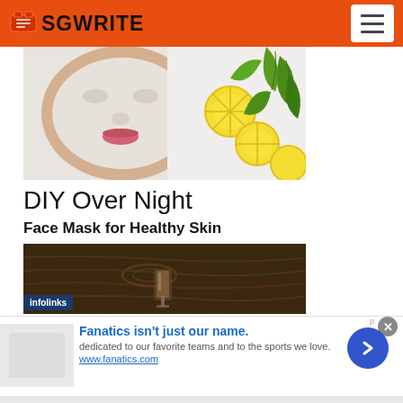SGwrite
[Figure (photo): Woman with white clay face mask, lemon slices, and green leaves on white background — beauty/skincare hero image]
DIY Over Night
Face Mask for Healthy Skin
[Figure (photo): Dark wooden background with a glass of dark liquid — second article image with infolinks badge overlay]
Fanatics isn't just our name. dedicated to our favorite teams and to the sports we love. www.fanatics.com